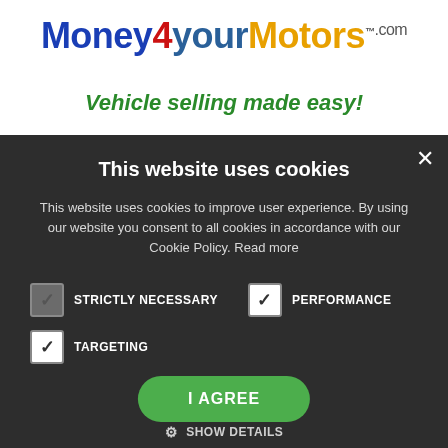[Figure (logo): Money4yourMotors.com logo with colorful text and tagline 'Vehicle selling made easy!']
This website uses cookies
This website uses cookies to improve user experience. By using our website you consent to all cookies in accordance with our Cookie Policy. Read more
STRICTLY NECESSARY (checked)
PERFORMANCE (checked)
TARGETING (checked)
I AGREE
SHOW DETAILS